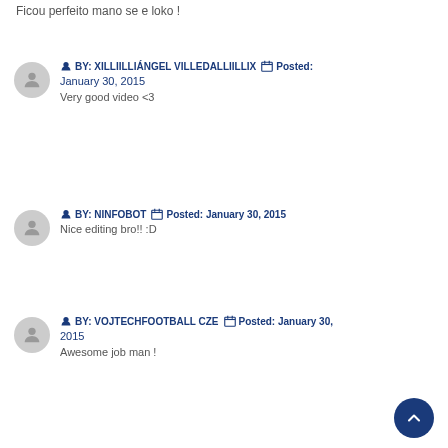Ficou perfeito mano se e loko !
BY: XILLIILLIÁNGEL VILLEDALLIILLIX  Posted: January 30, 2015
Very good video <3
BY: NINFOBOT  Posted: January 30, 2015
Nice editing bro!! :D
BY: VOJTECHFOOTBALL CZE  Posted: January 30, 2015
Awesome job man !